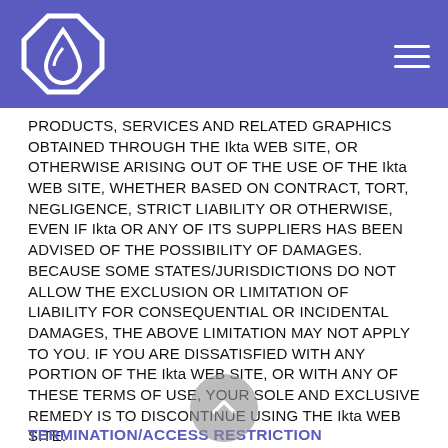Ikta logo and navigation
PRODUCTS, SERVICES AND RELATED GRAPHICS OBTAINED THROUGH THE Ikta WEB SITE, OR OTHERWISE ARISING OUT OF THE USE OF THE Ikta WEB SITE, WHETHER BASED ON CONTRACT, TORT, NEGLIGENCE, STRICT LIABILITY OR OTHERWISE, EVEN IF Ikta OR ANY OF ITS SUPPLIERS HAS BEEN ADVISED OF THE POSSIBILITY OF DAMAGES. BECAUSE SOME STATES/JURISDICTIONS DO NOT ALLOW THE EXCLUSION OR LIMITATION OF LIABILITY FOR CONSEQUENTIAL OR INCIDENTAL DAMAGES, THE ABOVE LIMITATION MAY NOT APPLY TO YOU. IF YOU ARE DISSATISFIED WITH ANY PORTION OF THE Ikta WEB SITE, OR WITH ANY OF THESE TERMS OF USE, YOUR SOLE AND EXCLUSIVE REMEDY IS TO DISCONTINUE USING THE Ikta WEB SITE.
SERVICE CONTACT: business@somextracts.com
TERMINATION/ACCESS RESTRICTION